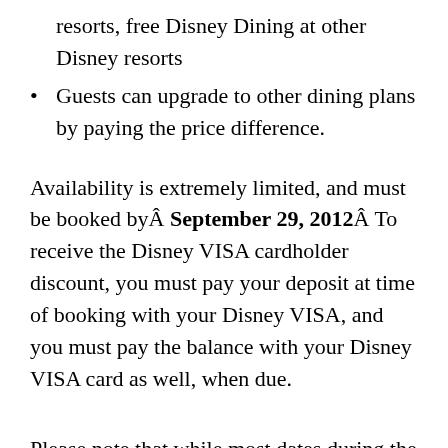resorts, free Disney Dining at other Disney resorts
Guests can upgrade to other dining plans by paying the price difference.
Availability is extremely limited, and must be booked byÂ September 29, 2012Â To receive the Disney VISA cardholder discount, you must pay your deposit at time of booking with your Disney VISA, and you must pay the balance with your Disney VISA card as well, when due.
Please note that while most dates during the Fall are blacked out, as long as you check in on an available travel date, the free dining on your package will extend past that date. As usual,